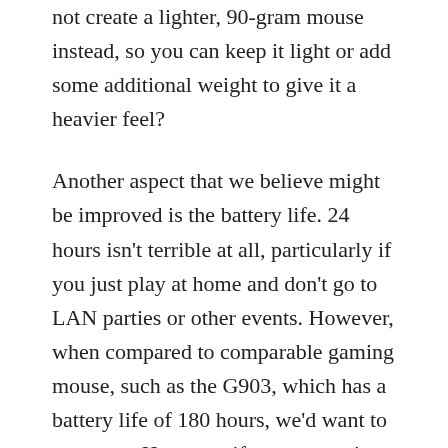not create a lighter, 90-gram mouse instead, so you can keep it light or add some additional weight to give it a heavier feel?
Another aspect that we believe might be improved is the battery life. 24 hours isn't terrible at all, particularly if you just play at home and don't go to LAN parties or other events. However, when compared to comparable gaming mouse, such as the G903, which has a battery life of 180 hours, we'd want to see more. However, if your mouse's battery runs out, 15 minutes of charging should provide you with 10+ hours of gaming, which is a nice bonus.
Having saying that, the Rival 650 has a lot to offer. It has one of the finest, if not the best, designs of all the mice on this list, in our view. It also provides excellent performance and is ergonomically designed for extended gaming